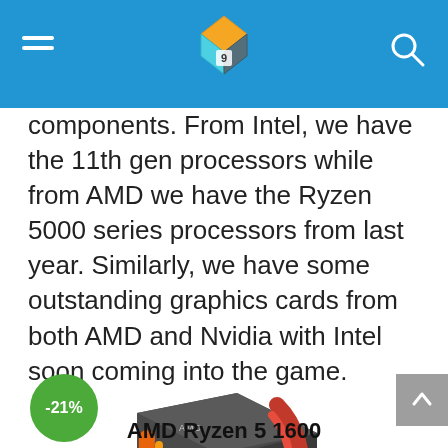Navigation header with logo and search
components. From Intel, we have the 11th gen processors while from AMD we have the Ryzen 5000 series processors from last year. Similarly, we have some outstanding graphics cards from both AMD and Nvidia with Intel soon coming into the game.
[Figure (other): Green circular discount badge showing -21%]
[Figure (photo): AMD Ryzen 5 processor retail box with orange and red swirl design and the number 5 on front]
AMD Ryzen 5 1600